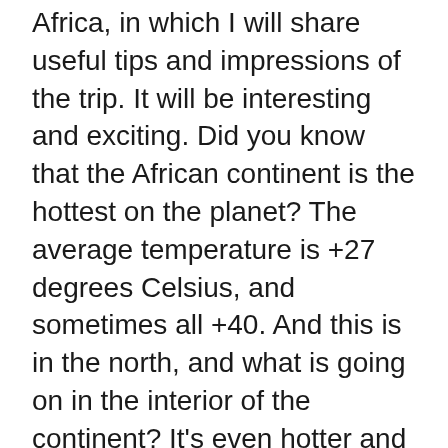Africa, in which I will share useful tips and impressions of the trip. It will be interesting and exciting. Did you know that the African continent is the hottest on the planet? The average temperature is +27 degrees Celsius, and sometimes all +40. And this is in the north, and what is going on in the interior of the continent? It’s even hotter and more humid there!
About us
Contact
Privacy Policy & Cookies
ATTENTION TO RIGHT HOLDERS! All